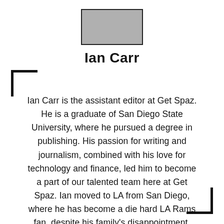[Figure (photo): Gray rectangular photo placeholder at top center]
Ian Carr
Ian Carr is the assistant editor at Get Spaz. He is a graduate of San Diego State University, where he pursued a degree in publishing. His passion for writing and journalism, combined with his love for technology and finance, led him to become a part of our talented team here at Get Spaz. Ian moved to LA from San Diego, where he has become a die hard LA Rams fan, despite his family's disappointment.